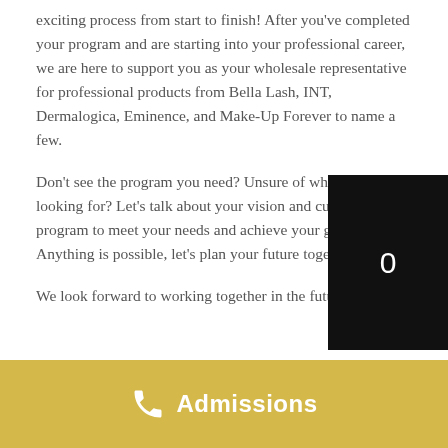exciting process from start to finish! After you've completed your program and are starting into your professional career, we are here to support you as your wholesale representative for professional products from Bella Lash, INT, Dermalogica, Eminence, and Make-Up Forever to name a few.
Don't see the program you need? Unsure of what you are looking for? Let's talk about your vision and customize a program to meet your needs and achieve your goals. Anything is possible, let's plan your future together!
We look forward to working together in the future –
Admissions